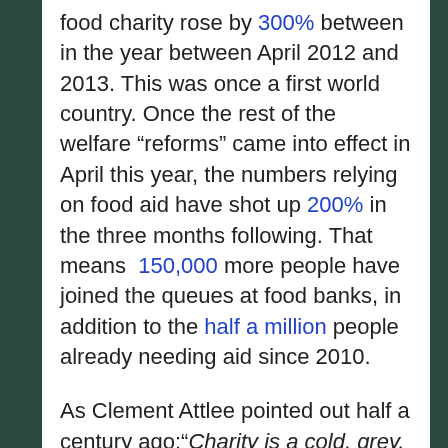food charity rose by 300% between in the year between April 2012 and 2013. This was once a first world country. Once the rest of the welfare “reforms” came into effect in April this year, the numbers relying on food aid have shot up 200% in the three months following. That means 150,000 more people have joined the queues at food banks, in addition to the half a million people already needing aid since 2010.
As Clement Attlee pointed out half a century ago: “Charity is a cold, grey, loveless thing. If a rich man wants to help the poor,